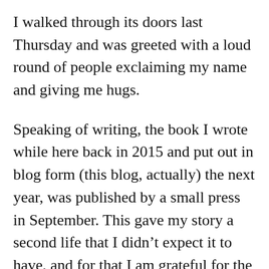I walked through its doors last Thursday and was greeted with a loud round of people exclaiming my name and giving me hugs.
Speaking of writing, the book I wrote while here back in 2015 and put out in blog form (this blog, actually) the next year, was published by a small press in September. This gave my story a second life that I didn’t expect it to have, and for that I am grateful for the guys at Patristica for putting in the work to get it out there in a form you can hold. As I’ve scanned through the book over the past couple of days, I’ve been struck with this thought: If I had it to do over again, I